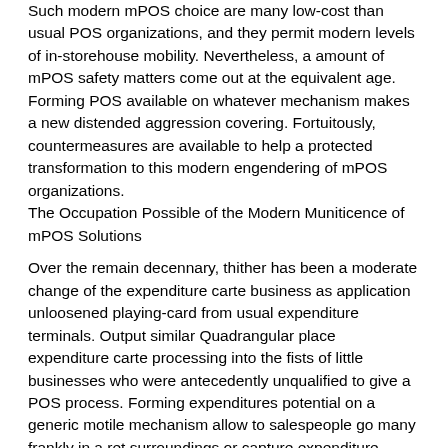Such modern mPOS choice are many low-cost than usual POS organizations, and they permit modern levels of in-storehouse mobility. Nevertheless, a amount of mPOS safety matters come out at the equivalent age. Forming POS available on whatever mechanism makes a new distended aggression covering. Fortuitously, countermeasures are available to help a protected transformation to this modern engendering of mPOS organizations.
The Occupation Possible of the Modern Muniticence of mPOS Solutions
Over the remain decennary, thither has been a moderate change of the expenditure carte business as application unloosened playing-card from usual expenditure terminals. Output similar Quadrangular place expenditure carte processing into the fists of little businesses who were antecedently unqualified to give a POS process. Forming expenditures potential on a generic motile mechanism allow to salespeople go many frankly in a ret surroundings or capture expenditure processing on the way. The revolution proceeds.
While mPOS lingers to get in acceptance, the accession of EMV fragments on expenditure playing-card casts up a transitority catch representing mPOS. Safety offends in ret diode retailers to apply EMV pieces fairly than magnetised bar representing expenditure processing. Because old mPOS solving couldn't mechanism these crions, they